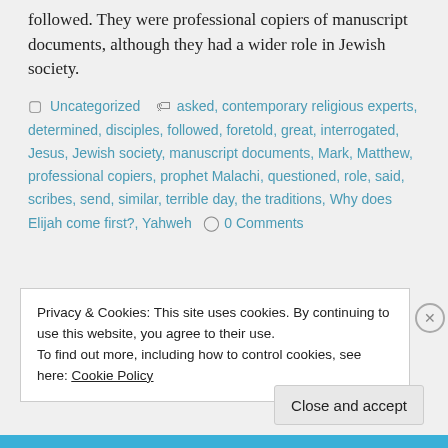followed. They were professional copiers of manuscript documents, although they had a wider role in Jewish society.
Uncategorized  asked, contemporary religious experts, determined, disciples, followed, foretold, great, interrogated, Jesus, Jewish society, manuscript documents, Mark, Matthew, professional copiers, prophet Malachi, questioned, role, said, scribes, send, similar, terrible day, the traditions, Why does Elijah come first?, Yahweh  0 Comments
Privacy & Cookies: This site uses cookies. By continuing to use this website, you agree to their use.
To find out more, including how to control cookies, see here: Cookie Policy